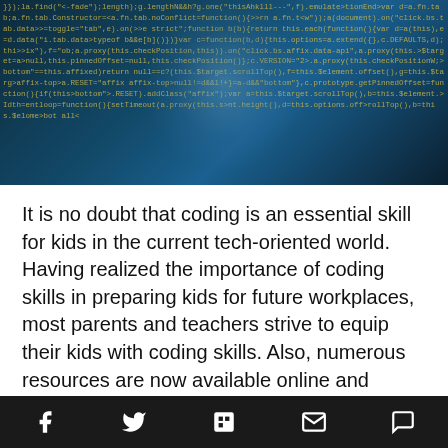[Figure (photo): A blue-tinted digital image of a human face overlaid with JavaScript/jQuery source code text in yellow-green monospace font, creating a 'coding brain' or tech concept visual.]
It is no doubt that coding is an essential skill for kids in the current tech-oriented world.  Having realized the importance of coding skills in preparing kids for future workplaces, most parents and teachers strive to equip their kids with coding skills. Also, numerous resources are now available online and offline to help kids learn to code.
From coding classes as part of childhood education to apps that teach programming concepts, there are various ways to introduce coding to kids. However, the best w...
[social share toolbar: Facebook, Twitter, Flipboard, Email, Comment]